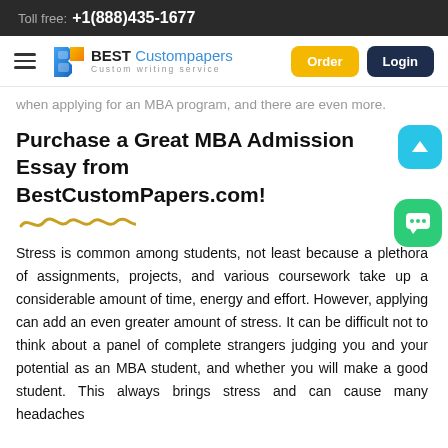Toll free: +1(888)435-1677
[Figure (logo): BestCustompapers logo with hamburger menu, Order and Login buttons]
when applying for an MBA program, and there are even more.
Purchase a Great MBA Admission Essay from BestCustomPapers.com!
[Figure (illustration): Wavy decorative line in gold/yellow color]
Stress is common among students, not least because a plethora of assignments, projects, and various coursework take up a considerable amount of time, energy and effort. However, applying can add an even greater amount of stress. It can be difficult not to think about a panel of complete strangers judging you and your potential as an MBA student, and whether you will make a good student. This always brings stress and can cause many headaches